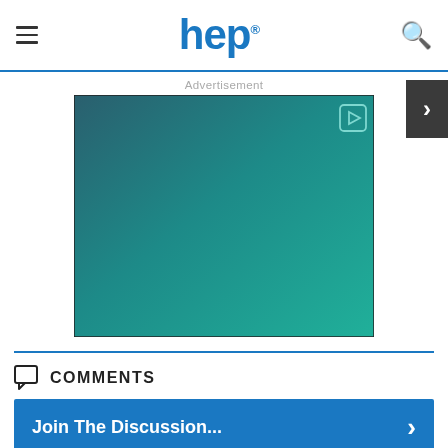hep
Advertisement
[Figure (other): Advertisement banner with teal/dark teal gradient background and a play button icon in the top right corner]
COMMENTS
Join The Discussion...